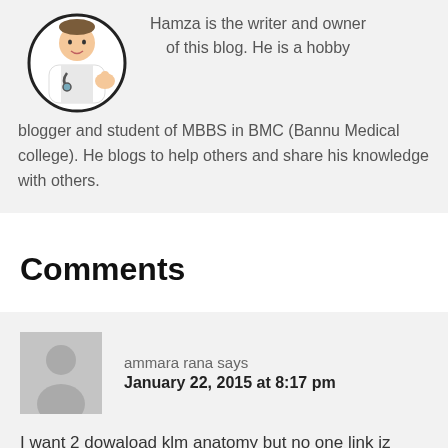[Figure (illustration): Cartoon doctor avatar with stethoscope in a circular frame]
Hamza is the writer and owner of this blog. He is a hobby blogger and student of MBBS in BMC (Bannu Medical college). He blogs to help others and share his knowledge with others.
Comments
[Figure (illustration): Generic grey silhouette avatar for commenter ammara rana]
ammara rana says
January 22, 2015 at 8:17 pm
I want 2 dowaload klm anatomy but no one link iz found for ths.can u help me plz in ths regard?????